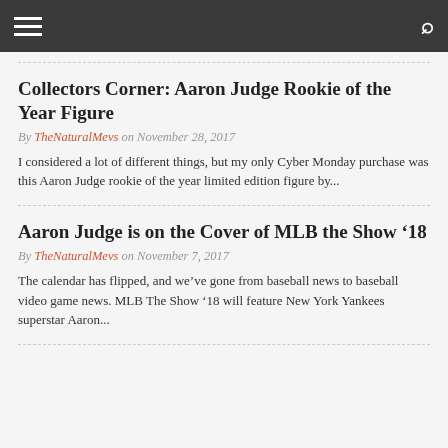TheNaturalMevs — navigation header with hamburger menu and search icon
Collectors Corner: Aaron Judge Rookie of the Year Figure
By TheNaturalMevs on November 28, 2017
I considered a lot of different things, but my only Cyber Monday purchase was this Aaron Judge rookie of the year limited edition figure by...
Aaron Judge is on the Cover of MLB the Show '18
By TheNaturalMevs on November 7, 2017
The calendar has flipped, and we've gone from baseball news to baseball video game news. MLB The Show '18 will feature New York Yankees superstar Aaron...